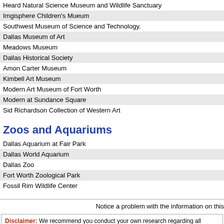Heard Natural Science Museum and Wildlife Sanctuary
Imgisphere Children's Mueum
Southwest Museum of Science and Technology.
Dallas Museum of Art
Meadows Museum
Dallas Historical Society
Amon Carter Museum
Kimbell Art Museum
Modern Art Museum of Fort Worth
Modern at Sundance Square
Sid Richardson Collection of Western Art
Zoos and Aquariums
Dallas Aquarium at Fair Park
Dallas World Aquarium
Dallas Zoo
Fort Worth Zoological Park
Fossil Rim Wildlife Center
Notice a problem with the information on this
Disclaimer: We recommend you conduct your own research regarding all accomodations and attra are straight-line distances as the crow flies. The road distance may be considerably longer. You a information is confirmed or warranted in any way. By using our services you agree to the terms an
We are the #1 site for your Texas Vacations presenting Texas vacation re
Texas Vacations .com ©1997-2022 All Rights Re